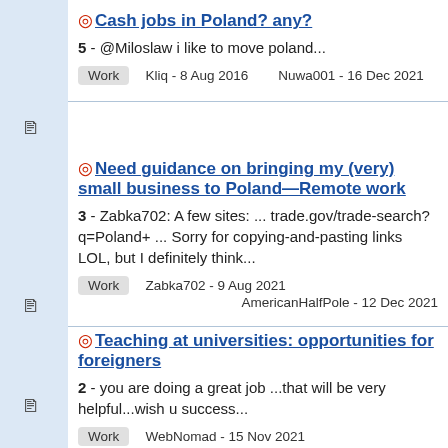Cash jobs in Poland? any?
5 - @Miloslaw i like to move poland...
Work   Kliq - 8 Aug 2016   Nuwa001 - 16 Dec 2021
Need guidance on bringing my (very) small business to Poland—Remote work
3 - Zabka702: A few sites: ... trade.gov/trade-search?q=Poland+ ... Sorry for copying-and-pasting links LOL, but I definitely think...
Work   Zabka702 - 9 Aug 2021   AmericanHalfPole - 12 Dec 2021
Teaching at universities: opportunities for foreigners
2 - you are doing a great job ...that will be very helpful...wish u success...
Work   WebNomad - 15 Nov 2021   alandaram - 15 Nov 2021